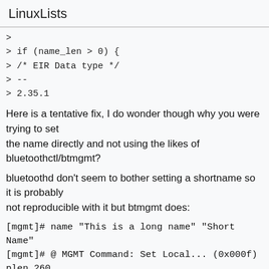LinuxLists
>
> if (name_len > 0) {
> /* EIR Data type */
> --
> 2.35.1
Here is a tentative fix, I do wonder though why you were trying to set the name directly and not using the likes of bluetoothctl/btmgmt?
bluetoothd don't seem to bother setting a shortname so it is probably not reproducible with it but btmgmt does:
[mgmt]# name "This is a long name" "Short Name"
[mgmt]# @ MGMT Command: Set Local... (0x000f) plen 260